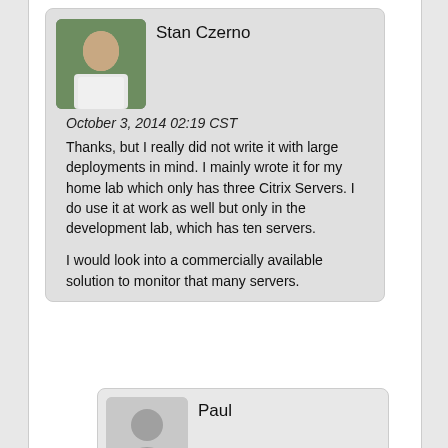Stan Czerno
October 3, 2014 02:19 CST
Thanks, but I really did not write it with large deployments in mind. I mainly wrote it for my home lab which only has three Citrix Servers. I do use it at work as well but only in the development lab, which has ten servers.

I would look into a commercially available solution to monitor that many servers.
Paul
October 3, 2014 23:09 CST